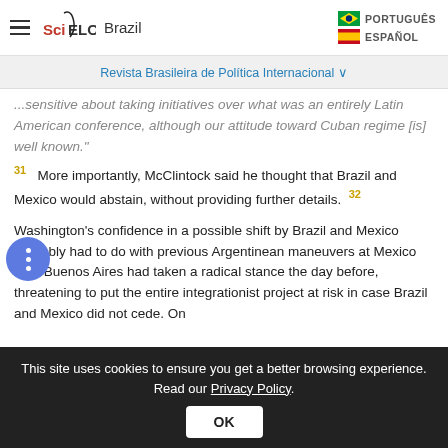SciELO Brazil | PORTUGUÊS | ESPAÑOL
Revista Brasileira de Política Internacional
...sensitive about taking initiatives over what was an entirely Latin American conference, although our attitude toward Cuban regime [is] well known." 31 More importantly, McClintock said he thought that Brazil and Mexico would abstain, without providing further details. 32
Washington's confidence in a possible shift by Brazil and Mexico probably had to do with previous Argentinean maneuvers at Mexico City. Buenos Aires had taken a radical stance the day before, threatening to put the entire integrationist project at risk in case Brazil and Mexico did not cede. On
This site uses cookies to ensure you get a better browsing experience. Read our Privacy Policy.